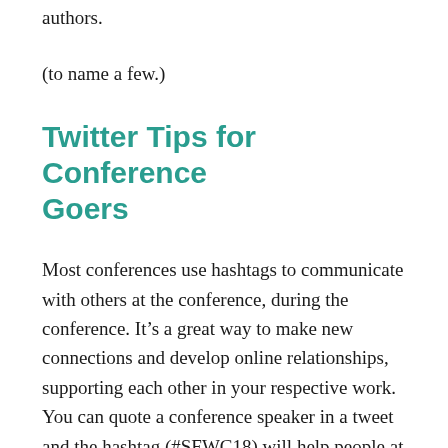authors.
(to name a few.)
Twitter Tips for Conference Goers
Most conferences use hashtags to communicate with others at the conference, during the conference. It’s a great way to make new connections and develop online relationships, supporting each other in your respective work. You can quote a conference speaker in a tweet and the hashtag (#SFWC18) will help people at the conference find your tweet.